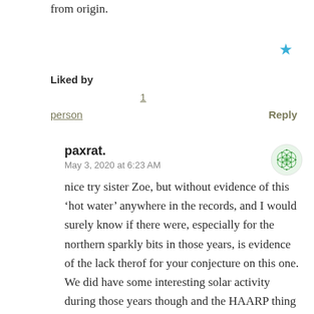from origin.
Liked by
1
person
Reply
paxrat.
May 3, 2020 at 6:23 AM
nice try sister Zoe, but without evidence of this ‘hot water’ anywhere in the records, and I would surely know if there were, especially for the northern sparkly bits in those years, is evidence of the lack therof for your conjecture on this one. We did have some interesting solar activity during those years though and the HAARP thing doing it’s funky thing up there. I am quite interested in nailing this down though, as geothermal is too conveniently deemed irrelevant without careful observation, even by the solar is everything bunch, that there is much more